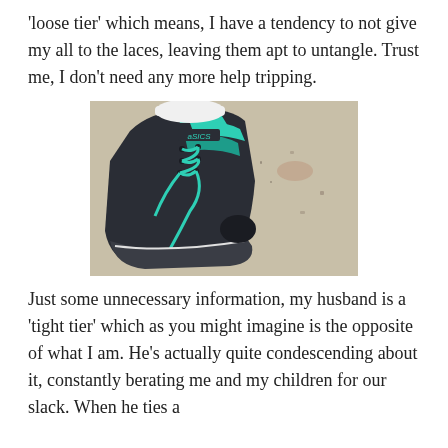'loose tier' which means, I have a tendency to not give my all to the laces, leaving them apt to untangle. Trust me, I don't need any more help tripping.
[Figure (photo): Close-up photo of a dark navy and teal/mint ASICS running shoe on a concrete surface, with the laces visibly loose and untied.]
Just some unnecessary information, my husband is a 'tight tier' which as you might imagine is the opposite of what I am. He's actually quite condescending about it, constantly berating me and my children for our slack. When he ties a